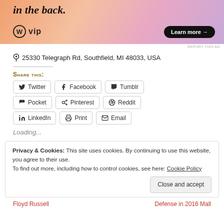[Figure (screenshot): WordPress VIP advertisement banner with gradient background showing 'in the back.' text, WordPress VIP logo, and 'Learn more →' button]
REPORT THIS AD
📍 25330 Telegraph Rd, Southfield, MI 48033, USA
Share this:
Twitter
Facebook
Tumblr
Pocket
Pinterest
Reddit
LinkedIn
Print
Email
Loading...
Privacy & Cookies: This site uses cookies. By continuing to use this website, you agree to their use.
To find out more, including how to control cookies, see here: Cookie Policy
Close and accept
Floyd Russell
Defense in 2016 Mall